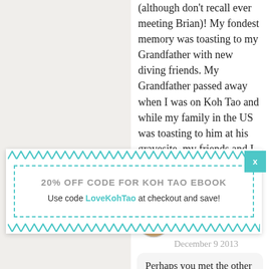(although don't recall ever meeting Brian)! My fondest memory was toasting to my Grandfather with new diving friends. My Grandfather passed away when I was on Koh Tao and while my family in the US was toasting to him at his gravesite, my friends and I all did a shot of whiskey at Banyan at the same moment. It was beautiful and
[Figure (other): Popup advertisement with zigzag border: '20% OFF CODE FOR KOH TAO EBOOK' with text 'Use code LoveKohTao at checkout and save!' and a teal X close button]
Alex
December 9 2013
Perhaps you met the other two owners, Sam and Will